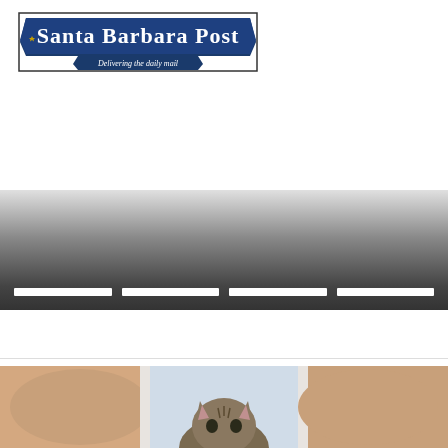[Figure (logo): Santa Barbara Post newspaper logo with banner design. Text reads 'Santa Barbara Post' in gothic/blackletter font on a blue ribbon banner, with tagline 'Delivering the daily mail' on a smaller blue banner below.]
[Figure (photo): Dark gradient banner/hero image area with navigation tab indicators (white rectangular bars) at the bottom. Appears to be a website header or slideshow placeholder.]
[Figure (photo): Partial photograph at bottom of page showing a tabby cat between what appear to be human arms/hands, against a light background.]